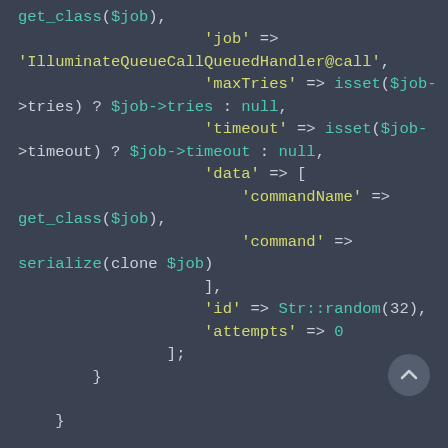get_class($job),
                    'job' =>
'IlluminateQueueCallQueuedHandler@call',
                    'maxTries' => isset($job->tries) ? $job->tries : null,
                    'timeout' => isset($job->timeout) ? $job->timeout : null,
                    'data' => [
                        'commandName' =>
get_class($job),
                        'command' =>
serialize(clone $job)
                    ],
                    'id' => Str::random(32),
                    'attempts' => 0
                ];
        }